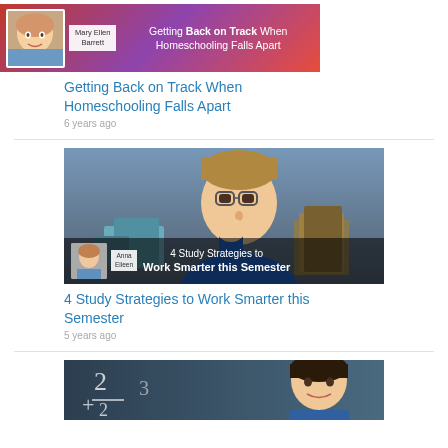[Figure (photo): Thumbnail for article: Getting Back on Track When Homeschooling Falls Apart. Shows Mary Ellen Barrett avatar, black background with text overlay.]
Getting Back on Track When Homeschooling Falls Apart
6 years ago
[Figure (photo): Thumbnail for article: 4 Study Strategies to Work Smarter this Semester. Shows a teenage boy in blue shirt looking bored at a desk with books. Anna Eileen avatar in overlay.]
4 Study Strategies to Work Smarter this Semester
5 years ago
[Figure (photo): Thumbnail for a third article, partially visible. Shows a boy in front of a chalkboard with math symbols (2, +, fraction).]